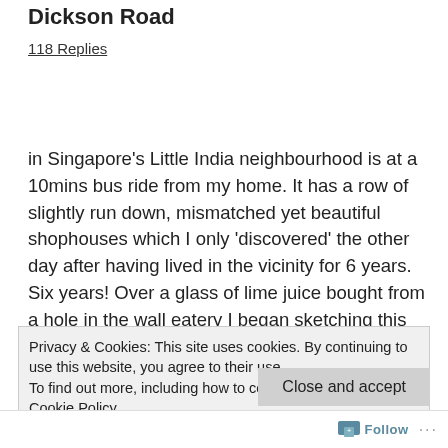Dickson Road
118 Replies
in Singapore's Little India neighbourhood is at a 10mins bus ride from my home. It has a row of slightly run down, mismatched yet beautiful shophouses which I only 'discovered' the other day after having lived in the vicinity for 6 years. Six years! Over a glass of lime juice bought from a hole in the wall eatery I began sketching this scene from a sunny spot all the while mulling over one question – what
Privacy & Cookies: This site uses cookies. By continuing to use this website, you agree to their use.
To find out more, including how to control cookies, see here: Cookie Policy
Close and accept